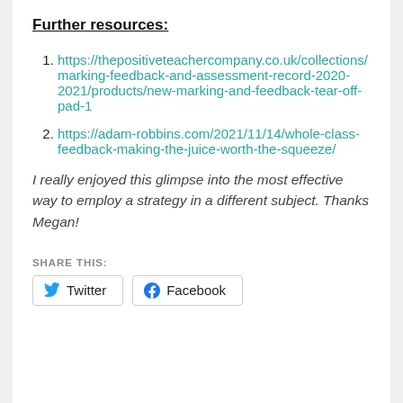Further resources:
https://thepositiveteachercompany.co.uk/collections/marking-feedback-and-assessment-record-2020-2021/products/new-marking-and-feedback-tear-off-pad-1
https://adam-robbins.com/2021/11/14/whole-class-feedback-making-the-juice-worth-the-squeeze/
I really enjoyed this glimpse into the most effective way to employ a strategy in a different subject. Thanks Megan!
SHARE THIS:
Twitter   Facebook